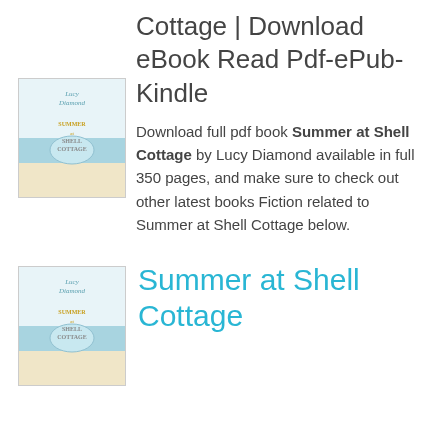Cottage | Download eBook Read Pdf-ePub-Kindle
[Figure (illustration): Book cover of Summer at Shell Cottage by Lucy Diamond — small thumbnail showing light blue/gold illustrated cover]
Download full pdf book Summer at Shell Cottage by Lucy Diamond available in full 350 pages, and make sure to check out other latest books Fiction related to Summer at Shell Cottage below.
[Figure (illustration): Book cover of Summer at Shell Cottage by Lucy Diamond — second thumbnail showing same light blue/gold illustrated cover]
Summer at Shell Cottage